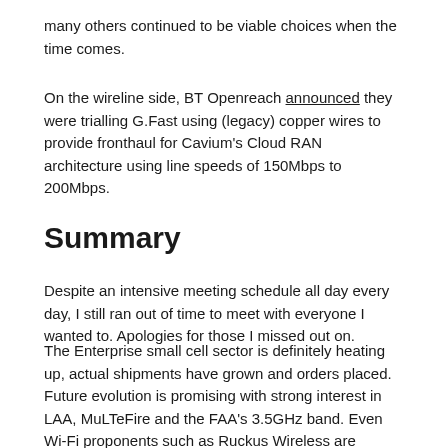many others continued to be viable choices when the time comes.
On the wireline side, BT Openreach announced they were trialling G.Fast using (legacy) copper wires to provide fronthaul for Cavium's Cloud RAN architecture using line speeds of 150Mbps to 200Mbps.
Summary
Despite an intensive meeting schedule all day every day, I still ran out of time to meet with everyone I wanted to. Apologies for those I missed out on.
The Enterprise small cell sector is definitely heating up, actual shipments have grown and orders placed. Future evolution is promising with strong interest in LAA, MuLTeFire and the FAA's 3.5GHz band. Even Wi-Fi proponents such as Ruckus Wireless are getting on the bandwagon.
Partly that's because it's not just technical. New business models enabled by neutral host, visible investments by China Mobile and Verizon are stimulating interest. Third party neutral host operators are key players in this story. A